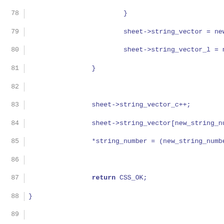Source code listing lines 78-107 showing C/CSS stylesheet string functions